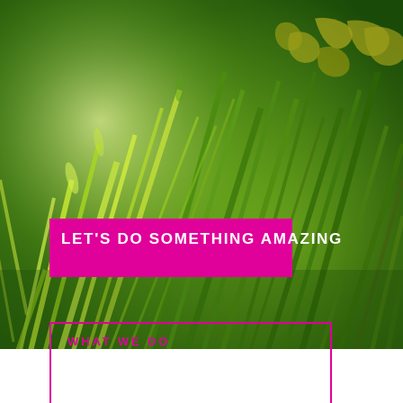[Figure (photo): Close-up macro photograph of green grass blades with bright yellow-green highlights, bokeh background. A gold/yellow world map watermark is visible in the upper right corner.]
LET'S DO SOMETHING AMAZING
WHAT WE DO